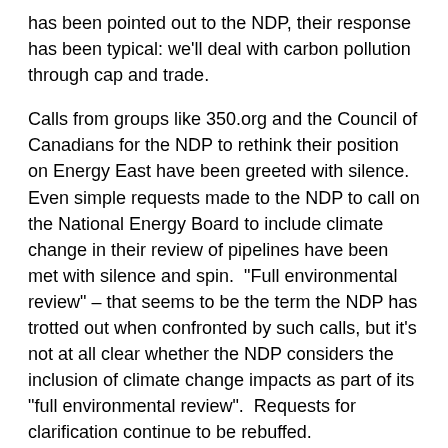has been pointed out to the NDP, their response has been typical: we'll deal with carbon pollution through cap and trade.
Calls from groups like 350.org and the Council of Canadians for the NDP to rethink their position on Energy East have been greeted with silence.  Even simple requests made to the NDP to call on the National Energy Board to include climate change in their review of pipelines have been met with silence and spin.  "Full environmental review" – that seems to be the term the NDP has trotted out when confronted by such calls, but it's not at all clear whether the NDP considers the inclusion of climate change impacts as part of its "full environmental review".  Requests for clarification continue to be rebuffed.
The NDP's Climate Change House of Cards
And who can blame the NDP?  If they really were to call for a climate change impacts to be considered for pipeline development, their whole climate change and energy policy house-of-cards would quickly fall down.  Clearly, new